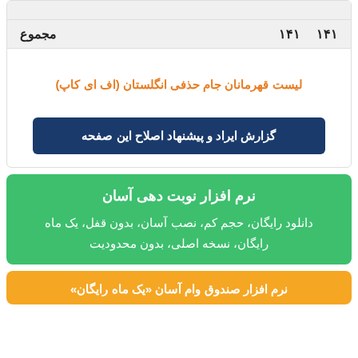| مجموع |  |  |
| --- | --- | --- |
| مجموع | ۱۴۱ | ۱۴۱ |
لیست قهرمانان جام حذفی انگلستان (اف ای کاپ)
گزارش ایراد و پیشنهاد اصلاح این صفحه
نرم افزار نوبت دهی آسان
دانلود رایگان، حجم کم، نصب آسان، بدون قفل، یک ماه رایگان، نسخه اصلی، بدون محدودیت
نرم افزار صندوق وام آسان «یک ماه رایگان»